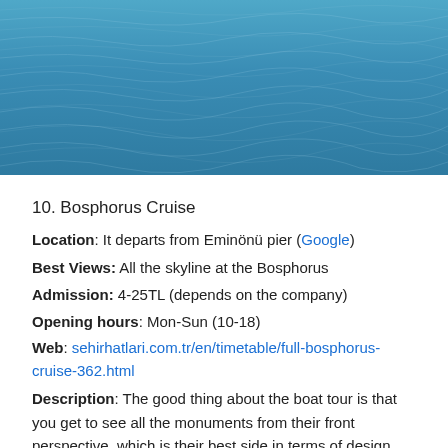[Figure (photo): Aerial or wide-angle photograph of blue ocean/sea water surface with ripples and waves]
10. Bosphorus Cruise
Location: It departs from Eminönü pier (Google)
Best Views:  All the skyline at the Bosphorus
Admission: 4-25TL (depends on the company)
Opening hours: Mon-Sun (10-18)
Web: sehirhatlari.com.tr/en/timetable/full-bosphorus-cruise-362.html
Description: The good thing about the boat tour is that you get to see all the monuments from their front perspective, which is their best side in terms of design. You'll get to photograph the Dolmabahçe Palace, Ortaköy Mosque and the Beylerbeyi Palace from a unique point of